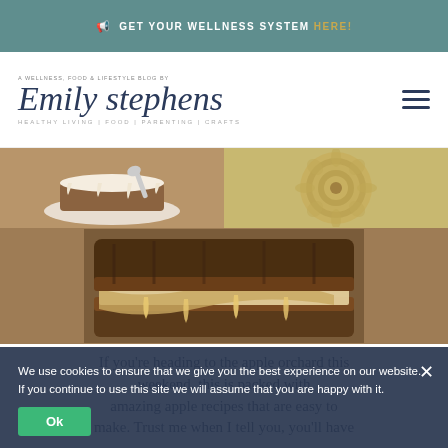📢 GET YOUR WELLNESS SYSTEM HERE!
[Figure (logo): Emily Stephens blog logo with tagline: Healthy Living | Food | Parenting | Crafts]
[Figure (photo): Food photography collage: top left shows a dessert/cake with frosting, top right shows a spiral/layered vegetable dish, bottom shows a close-up of a grilled sandwich with melted cheese and caramelized filling]
If you're heading to the apple orchard this weekend, this is packed with amazing apple recipes that are easy to make. Trust me when I tell you, you'll have
We use cookies to ensure that we give you the best experience on our website. If you continue to use this site we will assume that you are happy with it.
Ok